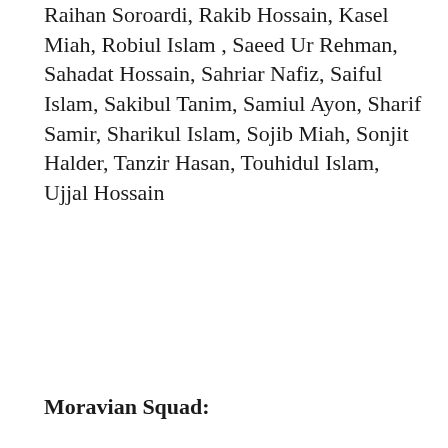Raihan Soroardi, Rakib Hossain, Kasel Miah, Robiul Islam , Saeed Ur Rehman, Sahadat Hossain, Sahriar Nafiz, Saiful Islam, Sakibul Tanim, Samiul Ayon, Sharif Samir, Sharikul Islam, Sojib Miah, Sonjit Halder, Tanzir Hasan, Touhidul Islam, Ujjal Hossain
Moravian Squad: